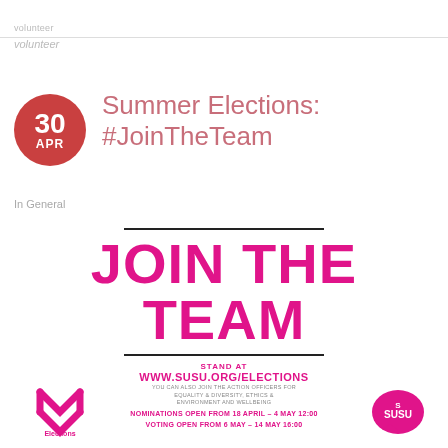volunteer
Summer Elections: #JoinTheTeam
In General
[Figure (infographic): JOIN THE TEAM poster with pink bold text, black rules, STAND AT www.susu.org/elections, nominations and voting dates, X Elections logo, SUSU logo]
STAND AT
WWW.SUSU.ORG/ELECTIONS
YOU CAN ALSO JOIN THE ACTION OFFICERS FOR EQUALITY & DIVERSITY, ETHICS & ENVIRONMENT AND WELLBEING
NOMINATIONS OPEN FROM 18 APRIL – 4 MAY 12:00
VOTING OPEN FROM 6 MAY – 14 MAY 16:00